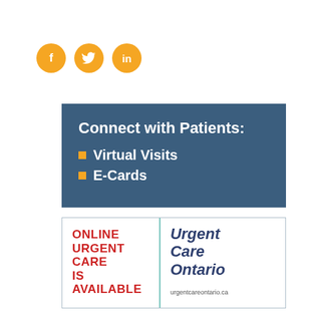[Figure (infographic): Three orange circular social media icons: Facebook (f), Twitter (bird), LinkedIn (in)]
Connect with Patients:
Virtual Visits
E-Cards
[Figure (infographic): Box with two columns: left column in red bold text reading 'ONLINE URGENT CARE IS AVAILABLE', right column with teal italic text 'Urgent Care Ontario' and URL 'urgentcareontario.ca']